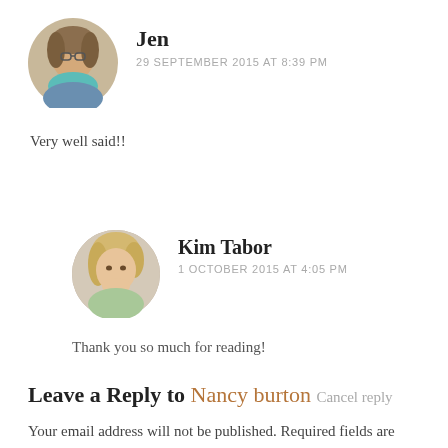[Figure (photo): Circular avatar photo of a woman named Jen wearing glasses and a teal scarf]
Jen
29 SEPTEMBER 2015 AT 8:39 PM
Very well said!!
[Figure (photo): Circular avatar photo of a blonde woman named Kim Tabor resting her chin on her hand]
Kim Tabor
1 OCTOBER 2015 AT 4:05 PM
Thank you so much for reading!
Leave a Reply to Nancy burton Cancel reply
Your email address will not be published. Required fields are